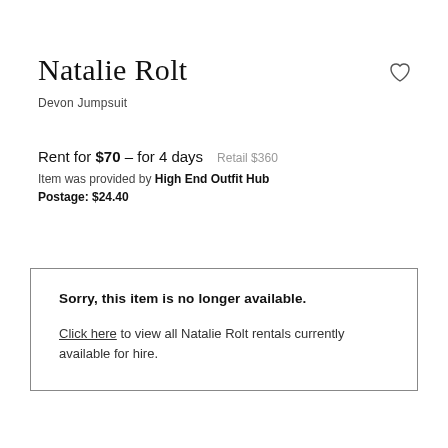Natalie Rolt
Devon Jumpsuit
Rent for $70 – for 4 days   Retail $360
Item was provided by High End Outfit Hub
Postage: $24.40
Sorry, this item is no longer available.

Click here to view all Natalie Rolt rentals currently available for hire.